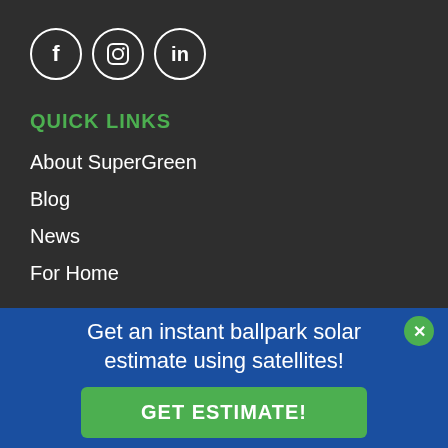[Figure (other): Three social media icon circles: Facebook (f), Instagram (camera), LinkedIn (in)]
QUICK LINKS
About SuperGreen
Blog
News
For Home
Get an instant ballpark solar estimate using satellites!
GET ESTIMATE!